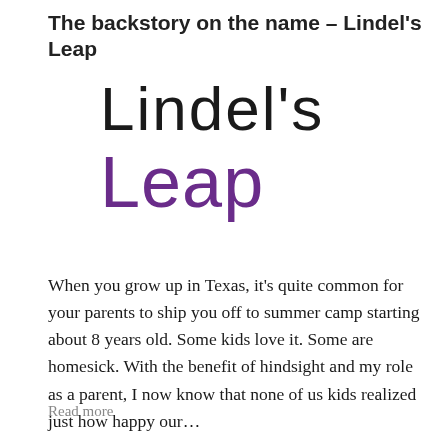The backstory on the name – Lindel's Leap
[Figure (logo): Two-line logo: 'Lindel's' in large black sans-serif text, 'Leap' in large purple sans-serif text below]
When you grow up in Texas, it's quite common for your parents to ship you off to summer camp starting about 8 years old.  Some kids love it.  Some are homesick.  With the benefit of hindsight and my role as a parent, I now know that none of us kids realized just how happy our...
Read more